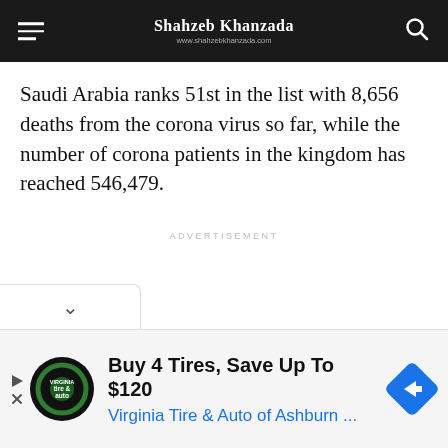Shahzeb Khanzada | www.shahzebkhanzada.com
Saudi Arabia ranks 51st in the list with 8,656 deaths from the corona virus so far, while the number of corona patients in the kingdom has reached 546,479.
ADVERTISEMENT
[Figure (other): Bottom advertisement banner: Buy 4 Tires, Save Up To $120 — Virginia Tire & Auto of Ashburn ...]